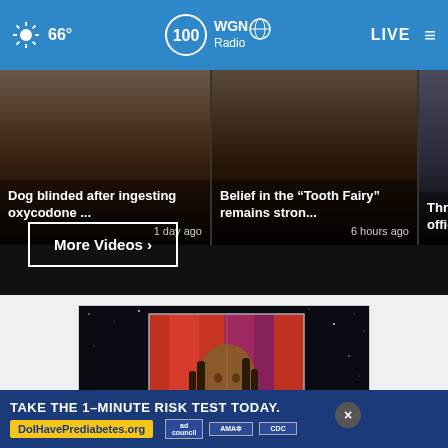66° WGN Radio LIVE
[Figure (screenshot): Video thumbnail card 1: Dog blinded after ingesting oxycodone ..., 1 day ago]
Dog blinded after ingesting oxycodone ... 1 day ago
[Figure (screenshot): Video thumbnail card 2: Belief in the "Tooth Fairy" remains stron..., 6 hours ago]
Belief in the “Tooth Fairy” remains stron... 6 hours ago
[Figure (screenshot): Video thumbnail card 3: Three office... (partially visible)]
More Videos ▸
[Figure (photo): Music album art showing a person with braids against a red and purple background, partially framed]
TAKE THE 1-MINUTE RISK TEST TODAY. DoIHavePrediabetes.org